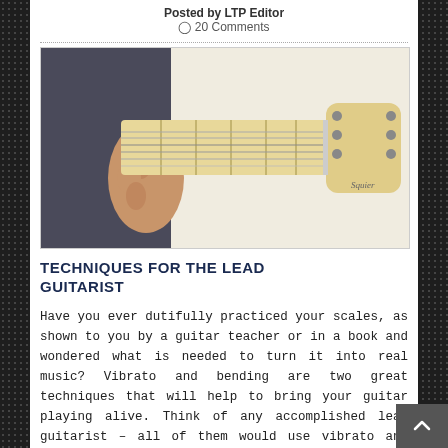Posted by LTP Editor
💬 20 Comments
[Figure (photo): A hand gripping the neck of a Squier electric guitar, with the guitar headstock visible showing tuning pegs.]
TECHNIQUES FOR THE LEAD GUITARIST
Have you ever dutifully practiced your scales, as shown to you by a guitar teacher or in a book and wondered what is needed to turn it into real music? Vibrato and bending are two great techniques that will help to bring your guitar playing alive. Think of any accomplished lead guitarist – all of them would use vibrato and bending at some s …